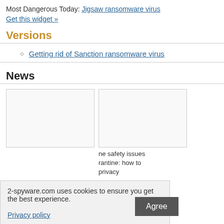Most Dangerous Today: Jigsaw ransomware virus
Get this widget »
Versions
Getting rid of Sanction ransomware virus
News
[Figure (other): Two empty news article image boxes side by side]
ne safety issues
rantine: how to
privacy
2-spyware.com uses cookies to ensure you get the best experience.
Privacy policy    Agree